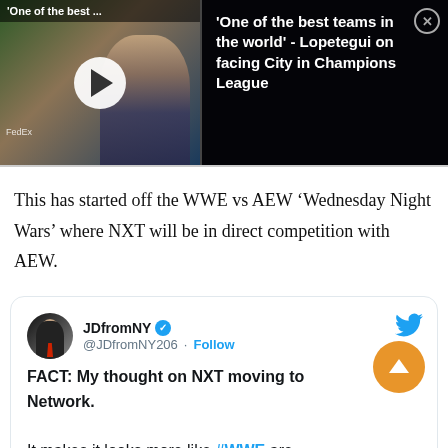[Figure (screenshot): Video thumbnail showing a person at a press conference with play button overlay. Right side shows dark overlay with text: '‘One of the best teams in the world’ - Lopetegui on facing City in Champions League'. Close button in top right.]
This has started off the WWE vs AEW ‘Wednesday Night Wars’ where NXT will be in direct competition with AEW.
[Figure (screenshot): Embedded tweet from JDfromNY (@JDfromNY206) with verified badge and Follow link. Tweet text: 'FACT: My thought on NXT moving to Network. It makes it looks more like #WWE are counter programming #AEW and down right desperate by jeopardizing the integrity of']